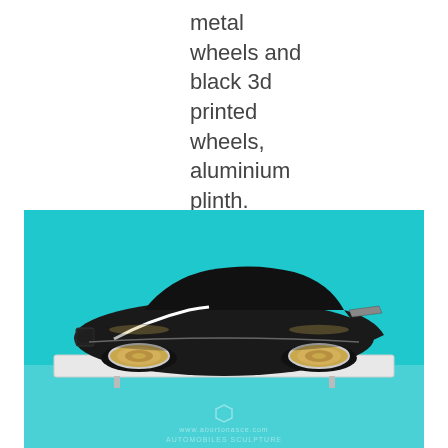metal wheels and black 3d printed wheels, aluminium plinth.
[Figure (photo): A black stylized car sculpture/model with gold metallic wheels, displayed on a white aluminium plinth against a turquoise/cyan background. The model reflects on the surface below. A watermark reads 'www.abortonasce.com AUTOMOBILES SCULPTURE'.]